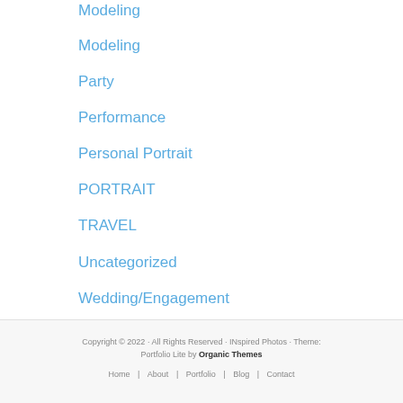Modeling
Modeling
Party
Performance
Personal Portrait
PORTRAIT
TRAVEL
Uncategorized
Wedding/Engagement
Copyright © 2022 · All Rights Reserved · INspired Photos · Theme: Portfolio Lite by Organic Themes
Home | About | Portfolio | Blog | Contact